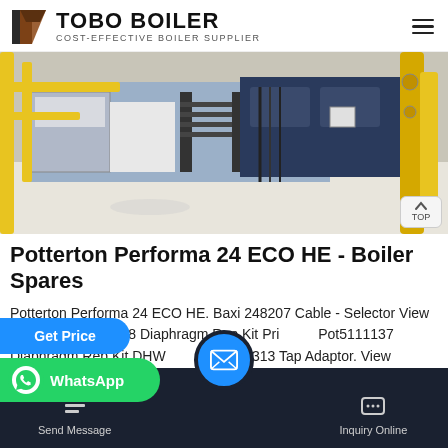TOBO BOILER — COST-EFFECTIVE BOILER SUPPLIER
[Figure (photo): Industrial boiler room with yellow gas pipes, metal staircases, large boiler units, and white floor. Multiple large pipe assemblies and equipment visible.]
Potterton Performa 24 ECO HE - Boiler Spares
Potterton Performa 24 ECO HE. Baxi 248207 Cable - Selector View Details. Pot5111138 Diaphragm Rep Kit Pri ... Pot5111137 Diaphragm Rep Kit DHW ... erton ... 3313 Tap Adaptor. View
Send Message | Inquiry Online